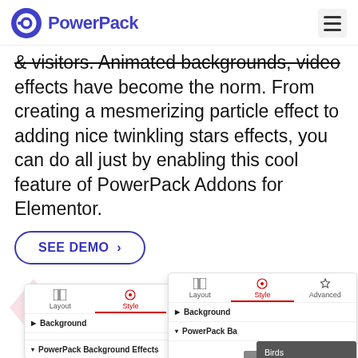PowerPack
& visitors. Animated backgrounds, video effects have become the norm. From creating a mesmerizing particle effect to adding nice twinkling stars effects, you can do all just by enabling this cool feature of PowerPack Addons for Elementor.
SEE DEMO >
[Figure (screenshot): Two overlapping UI screenshots showing Elementor panel with Layout/Style/Advanced tabs. Left panel shows Background and PowerPack Background Effects sections. Right panel shows the same with a dropdown menu listing Birds, Fog, Waves, Net, Dots options.]